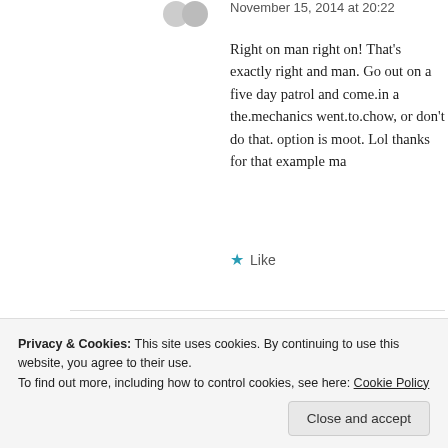November 15, 2014 at 20:22
Right on man right on! That's exactly right and man. Go out on a five day patrol and come.in a the.mechanics went.to.chow, or don't do that. option is moot. Lol thanks for that example ma
★ Like
[Figure (screenshot): Dark navy background panel with a pink 'Start a survey' button]
Privacy & Cookies: This site uses cookies. By continuing to use this website, you agree to their use.
To find out more, including how to control cookies, see here: Cookie Policy
Close and accept